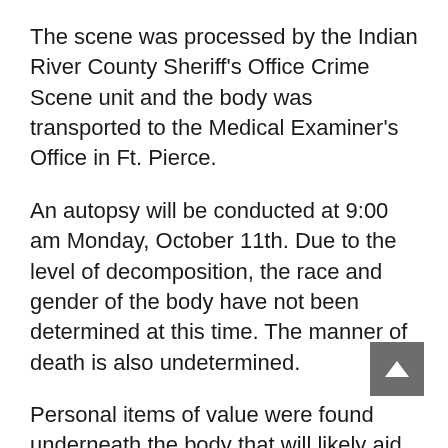The scene was processed by the Indian River County Sheriff's Office Crime Scene unit and the body was transported to the Medical Examiner's Office in Ft. Pierce.
An autopsy will be conducted at 9:00 am Monday, October 11th. Due to the level of decomposition, the race and gender of the body have not been determined at this time. The manner of death is also undetermined.
Personal items of value were found underneath the body that will likely aid in identification.
Sebastian Daily will update when new information is available.